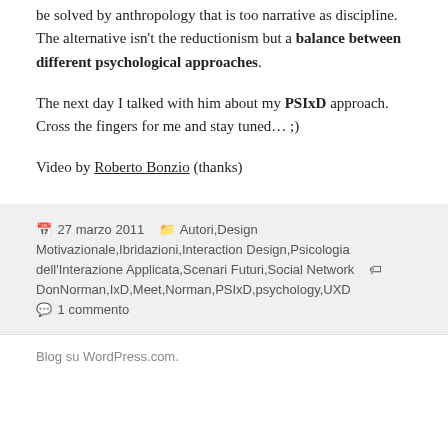be solved by anthropology that is too narrative as discipline. The alternative isn't the reductionism but a balance between different psychological approaches.
The next day I talked with him about my PSIxD approach. Cross the fingers for me and stay tuned... ;)
Video by Roberto Bonzio (thanks)
27 marzo 2011  Autori,Design Motivazionale,Ibridazioni,Interaction Design,Psicologia dell'Interazione Applicata,Scenari Futuri,Social Network  DonNorman,IxD,Meet,Norman,PSIxD,psychology,UXD  1 commento
Blog su WordPress.com.